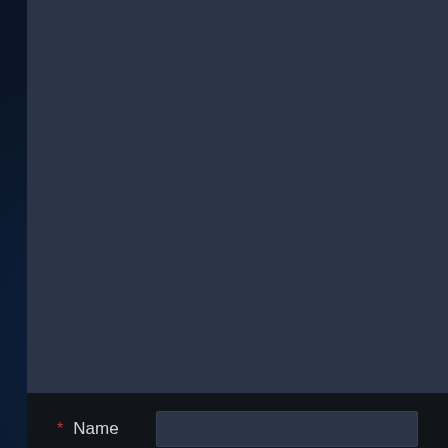[Figure (screenshot): Dark-themed web comment form with a textarea area at top (dark blue-gray), followed by required Name and Email fields with dark input boxes, and a golden 'Post Comment' button. The form sits on a dark navy background with subtle decorative pattern.]
* Name
* Email
Post Comment